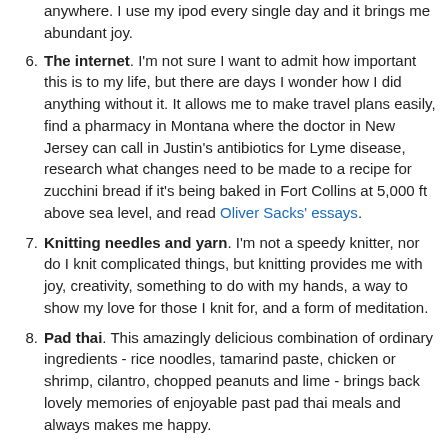anywhere. I use my ipod every single day and it brings me abundant joy.
The internet. I'm not sure I want to admit how important this is to my life, but there are days I wonder how I did anything without it. It allows me to make travel plans easily, find a pharmacy in Montana where the doctor in New Jersey can call in Justin's antibiotics for Lyme disease, research what changes need to be made to a recipe for zucchini bread if it's being baked in Fort Collins at 5,000 ft above sea level, and read Oliver Sacks' essays.
Knitting needles and yarn. I'm not a speedy knitter, nor do I knit complicated things, but knitting provides me with joy, creativity, something to do with my hands, a way to show my love for those I knit for, and a form of meditation.
Pad thai. This amazingly delicious combination of ordinary ingredients - rice noodles, tamarind paste, chicken or shrimp, cilantro, chopped peanuts and lime - brings back lovely memories of enjoyable past pad thai meals and always makes me happy.
Peppermint tea. I've been happy to drink this iced,